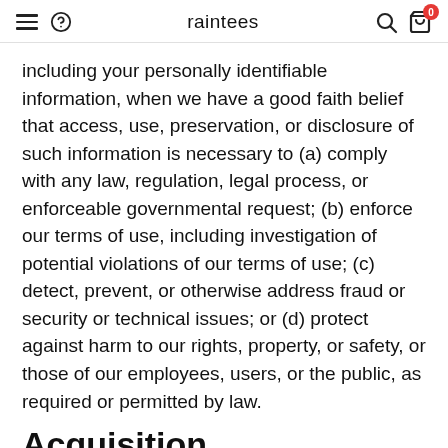raintees
including your personally identifiable information, when we have a good faith belief that access, use, preservation, or disclosure of such information is necessary to (a) comply with any law, regulation, legal process, or enforceable governmental request; (b) enforce our terms of use, including investigation of potential violations of our terms of use; (c) detect, prevent, or otherwise address fraud or security or technical issues; or (d) protect against harm to our rights, property, or safety, or those of our employees, users, or the public, as required or permitted by law.
Acquisition
If we become involved in a merger, acquisition, or any form of sale of some or all of our assets, including bankruptcy, our assets including Member